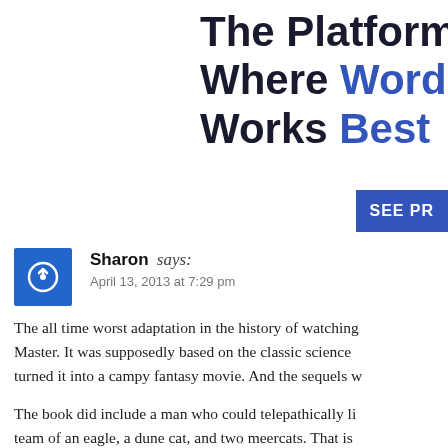The Platform Where WordPress Works Best
[Figure (other): SEE PR button (blue call-to-action button, partially cropped)]
Sharon says:
April 13, 2013 at 7:29 pm
The all time worst adaptation in the history of watching Master. It was supposedly based on the classic science turned it into a campy fantasy movie. And the sequels w
The book did include a man who could telepathically li team of an eagle, a dune cat, and two meercats. That is between the two. Even all the names were changed. Am theater and seeing "based on the book by Andre Norton